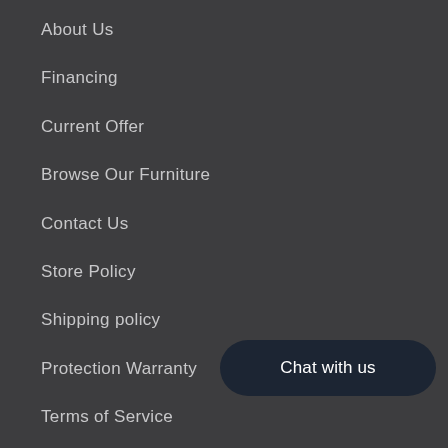About Us
Financing
Current Offer
Browse Our Furniture
Contact Us
Store Policy
Shipping policy
Protection Warranty
Terms of Service
Return and Refund policy
Chat with us